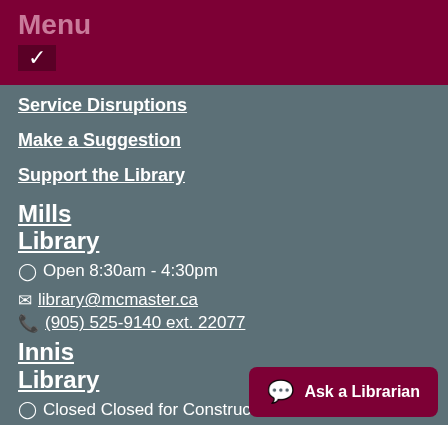Menu
Service Disruptions
Make a Suggestion
Support the Library
Mills Library
Open 8:30am - 4:30pm
library@mcmaster.ca
(905) 525-9140 ext. 22077
Innis Library
Closed Closed for Construction
library@mcmaster.ca